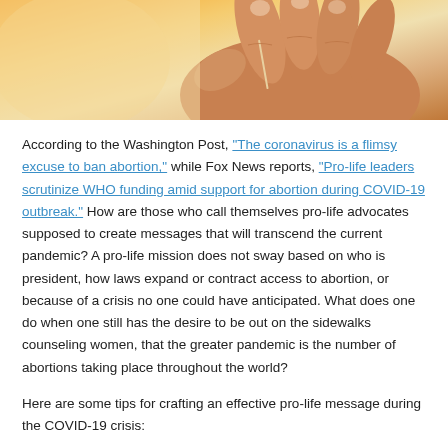[Figure (photo): Close-up photo of a hand holding what appears to be a small thin object, with warm orange and beige tones in the background.]
According to the Washington Post, “The coronavirus is a flimsy excuse to ban abortion,” while Fox News reports, “Pro-life leaders scrutinize WHO funding amid support for abortion during COVID-19 outbreak.” How are those who call themselves pro-life advocates supposed to create messages that will transcend the current pandemic? A pro-life mission does not sway based on who is president, how laws expand or contract access to abortion, or because of a crisis no one could have anticipated. What does one do when one still has the desire to be out on the sidewalks counseling women, that the greater pandemic is the number of abortions taking place throughout the world?
Here are some tips for crafting an effective pro-life message during the COVID-19 crisis: